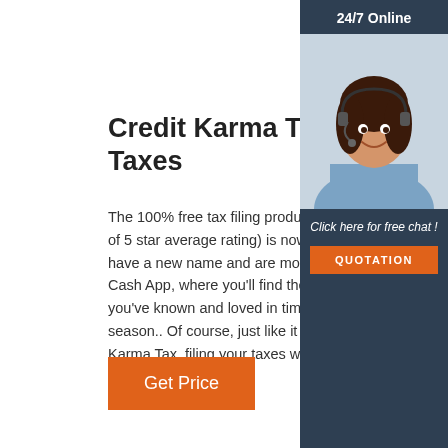Credit Karma Tax Is Now Cash App Taxes
The 100% free tax filing product loved by millions (4.8 out of 5 star average rating) is now Cash App Taxes. We have a new name and are moving into our new home in Cash App, where you'll find the same tax filing experience you've known and loved in time for the upcoming tax season.. Of course, just like it always was with Credit Karma Tax, filing your taxes will remain 100% free. To start ...
[Figure (photo): Customer support representative woman with headset smiling, sidebar with 24/7 Online header, Click here for free chat text, and orange QUOTATION button on dark blue background]
Get Price